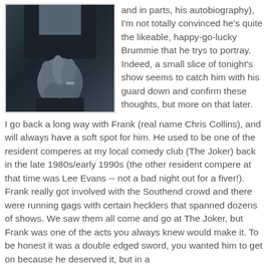[Figure (photo): Black and white photograph of a person in a dark outfit, hands clasped together, viewed from torso down]
and in parts, his autobiography), I'm not totally convinced he's quite the likeable, happy-go-lucky Brummie that he trys to portray. Indeed, a small slice of tonight's show seems to catch him with his guard down and confirm these thoughts, but more on that later.
I go back a long way with Frank (real name Chris Collins), and will always have a soft spot for him. He used to be one of the resident comperes at my local comedy club (The Joker) back in the late 1980s/early 1990s (the other resident compere at that time was Lee Evans -- not a bad night out for a fiver!). Frank really got involved with the Southend crowd and there were running gags with certain hecklers that spanned dozens of shows. We saw them all come and go at The Joker, but Frank was one of the acts you always knew would make it. To be honest it was a double edged sword, you wanted him to get on because he deserved it, but in a